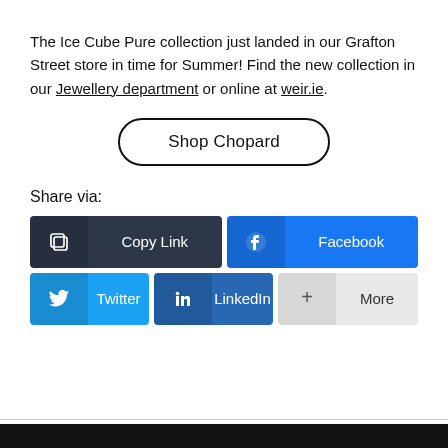The Ice Cube Pure collection just landed in our Grafton Street store in time for Summer! Find the new collection in our Jewellery department or online at weir.ie.
[Figure (other): Shop Chopard button with rounded rectangle border]
Share via:
[Figure (infographic): Social share buttons: Copy Link, Facebook, Twitter, LinkedIn, More]